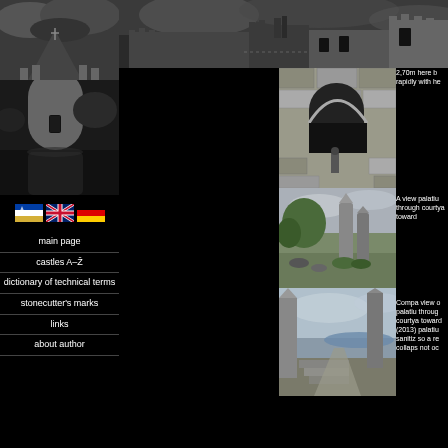[Figure (photo): Black and white photo of a castle tower with water reflection, left sidebar]
[Figure (photo): Black and white panoramic photo of castle ruins, top banner]
[Figure (photo): Three national flags: Slovenia, UK, Germany]
main page
castles A-Ž
dictionary of technical terms
stonecutter's marks
links
about author
[Figure (photo): Photo of stone archway/niche in castle wall]
2,70m here b rapidly with he
[Figure (photo): Photo of tall standing stone ruins of palatium through courtyard]
A view palatiu through courtya toward
[Figure (photo): Photo of palatium ruins through courtyard toward river (2013)]
Compa view o palatiu throug courtya toward (2013) palatiu sanitiz so a re collaps not oc